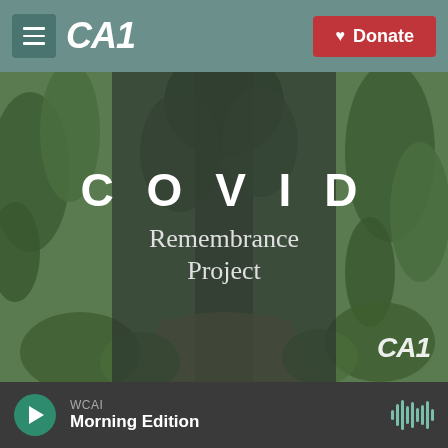CAI — Donate
[Figure (photo): COVID Remembrance Project promotional image showing a forest path with semi-transparent dark overlay panel in the center bearing the text 'COVID Remembrance Project' and a CAI logo watermark in the bottom right corner.]
WCAI — Morning Edition (player bar with play button and waveform icon)